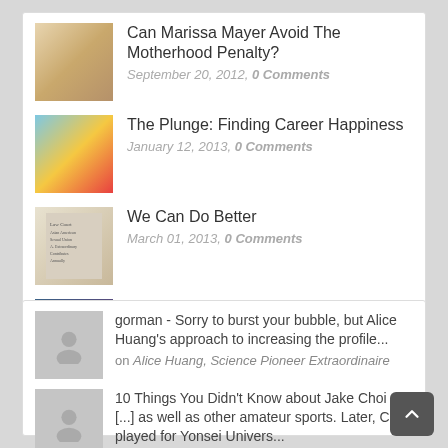Can Marissa Mayer Avoid The Motherhood Penalty? | September 20, 2012, 0 Comments
The Plunge: Finding Career Happiness | January 12, 2013, 0 Comments
We Can Do Better | March 01, 2013, 0 Comments
Matthew Salesses: Yellowface in CLOUD ATLAS | August 08, 2012, 0 Comments
gorman - Sorry to burst your bubble, but Alice Huang's approach to increasing the profile... on Alice Huang, Science Pioneer Extraordinaire
10 Things You Didn't Know about Jake Choi - [...] as well as other amateur sports. Later, Choi played for Yonsei Univers... on The Silver Lining: Jake Choi
Background – Cytheria P2 - [...] Magazine, A. (2018). Seasonal Japanese Foods For A Fall Palate by K...